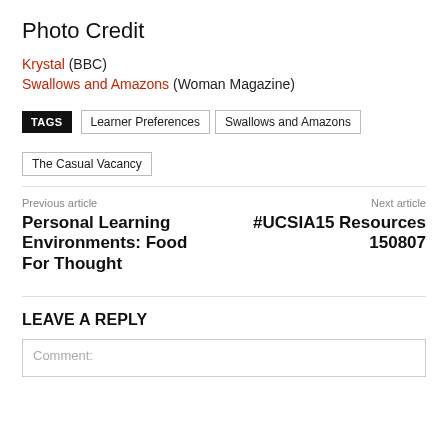Photo Credit
Krystal (BBC)
Swallows and Amazons (Woman Magazine)
TAGS  Learner Preferences  Swallows and Amazons  The Casual Vacancy
Previous article
Personal Learning Environments: Food For Thought
Next article
#UCSIA15 Resources 150807
LEAVE A REPLY
Comment: